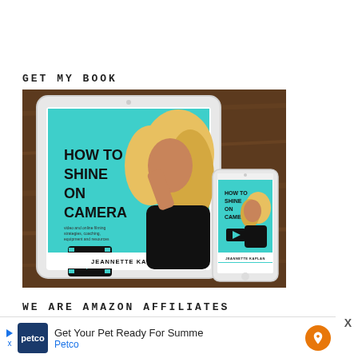GET MY BOOK
[Figure (photo): A tablet and a smartphone displayed on a wooden surface, both showing the book cover 'How to Shine on Camera' by Jeannette Kaplan with a teal background and a woman with curly blonde hair.]
WE ARE AMAZON AFFILIATES
[Figure (screenshot): An advertisement banner for Petco with text 'Get Your Pet Ready For Summe' and 'Petco', with Petco logo and an orange navigation icon on the right.]